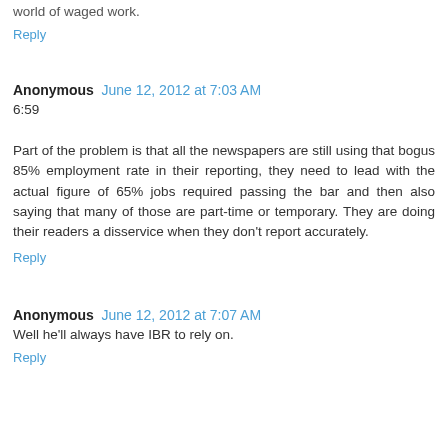world of waged work.
Reply
Anonymous  June 12, 2012 at 7:03 AM
6:59
Part of the problem is that all the newspapers are still using that bogus 85% employment rate in their reporting, they need to lead with the actual figure of 65% jobs required passing the bar and then also saying that many of those are part-time or temporary. They are doing their readers a disservice when they don't report accurately.
Reply
Anonymous  June 12, 2012 at 7:07 AM
Well he'll always have IBR to rely on.
Reply